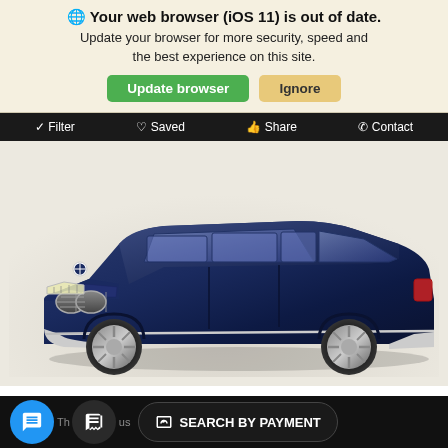🌐 Your web browser (iOS 11) is out of date. Update your browser for more security, speed and the best experience on this site.
Update browser | Ignore
Filter | Saved | Share | Contact
[Figure (photo): 2022 BMW X5 sDrive40i in dark navy blue, front three-quarter view on white/cream background]
2022 BMW X5 sDrive40i
SEARCH BY PAYMENT